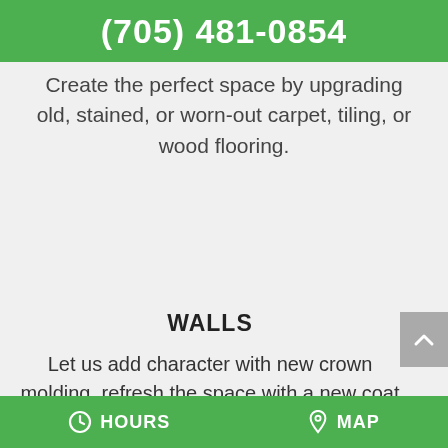(705) 481-0854
Create the perfect space by upgrading old, stained, or worn-out carpet, tiling, or wood flooring.
WALLS
Let us add character with new crown molding, refresh the space with a new coat of paint, or fix things up with drywall repair.
HOURS   MAP